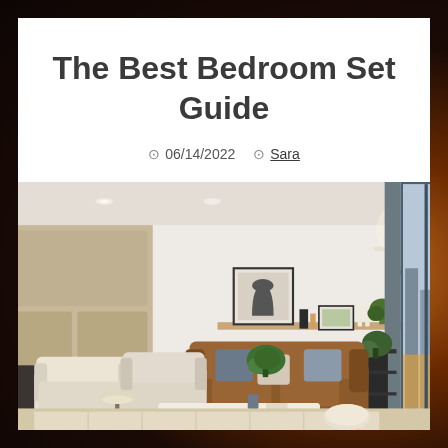The Best Bedroom Set Guide
06/14/2022  Sara
[Figure (photo): Modern living room interior with a brown leather sofa, white armchairs, a wooden coffee table, a decorative shelf with artwork, plants, and floor-to-ceiling windows showing a city view. Light beige and white color palette with a patterned rug.]